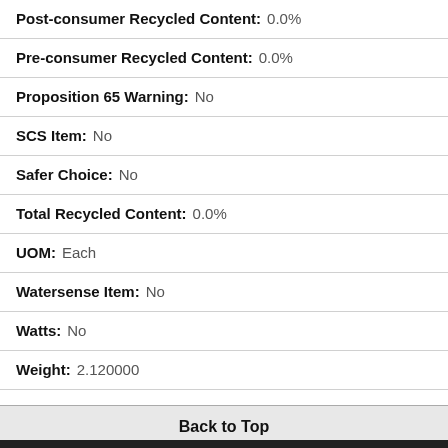Post-consumer Recycled Content: 0.0%
Pre-consumer Recycled Content: 0.0%
Proposition 65 Warning: No
SCS Item: No
Safer Choice: No
Total Recycled Content: 0.0%
UOM: Each
Watersense Item: No
Watts: No
Weight: 2.120000
Back to Top